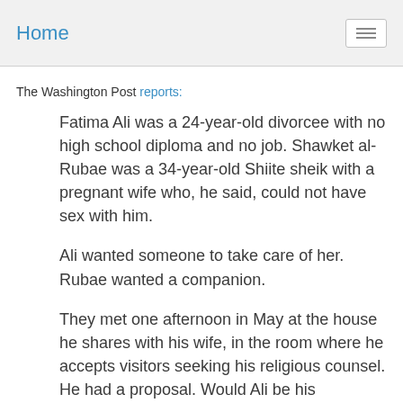Home
The Washington Post reports:
Fatima Ali was a 24-year-old divorcee with no high school diploma and no job. Shawket al-Rubae was a 34-year-old Shiite sheik with a pregnant wife who, he said, could not have sex with him.
Ali wanted someone to take care of her. Rubae wanted a companion.
They met one afternoon in May at the house he shares with his wife, in the room where he accepts visitors seeking his religious counsel. He had a proposal. Would Ali be his temporary wife? He would pay her